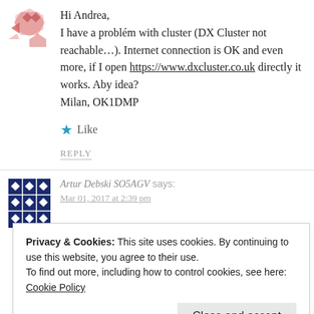[Figure (illustration): User avatar with geometric pattern in pink/salmon tones, partial view at top]
Hi Andrea,
I have a problém with cluster (DX Cluster not reachable…). Internet connection is OK and even more, if I open https://www.dxcluster.co.uk directly it works. Aby idea?
Milan, OK1DMP
★ Like
REPLY
[Figure (illustration): User avatar with dark blue/navy geometric diamond pattern]
Artur Debski SO5AGV says:
Mar 01, 2017 at 2:39 pm
Privacy & Cookies: This site uses cookies. By continuing to use this website, you agree to their use.
To find out more, including how to control cookies, see here: Cookie Policy
Close and accept